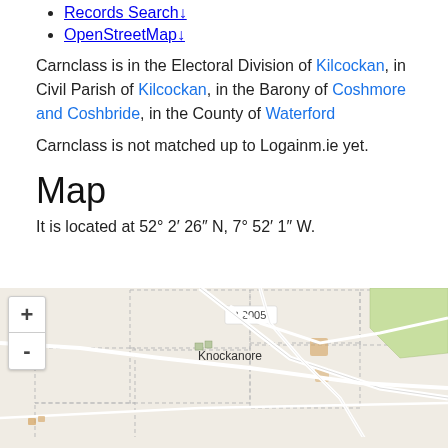Records Search↓
OpenStreetMap↓
Carnclass is in the Electoral Division of Kilcockan, in Civil Parish of Kilcockan, in the Barony of Coshmore and Coshbride, in the County of Waterford
Carnclass is not matched up to Logainm.ie yet.
Map
It is located at 52° 2′ 26″ N, 7° 52′ 1″ W.
[Figure (map): OpenStreetMap showing the area around Carnclass/Knockanore in County Waterford, Ireland. Shows road L2005, Knockanore settlement label, dashed boundary lines, green areas, and a blue highlighted polygon region in the lower portion. Zoom in/out controls visible on left side.]